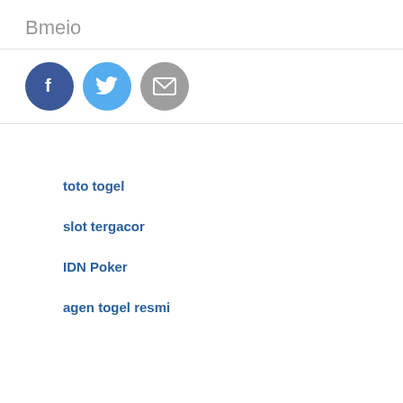Bmeio
[Figure (other): Three social share buttons: Facebook (dark blue circle with 'f'), Twitter (light blue circle with bird icon), Email (gray circle with envelope icon)]
toto togel
slot tergacor
IDN Poker
agen togel resmi